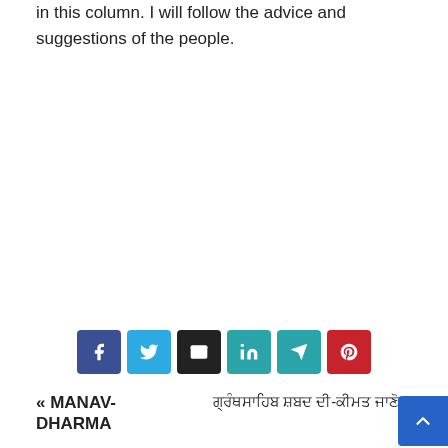in this column. I will follow the advice and suggestions of the people.
[Figure (other): Social share buttons: Facebook (dark blue), Twitter (light blue), Email (dark/black), LinkedIn (teal), Telegram (teal), Pinterest (red)]
« MANAV-DHARMA
ਗ੍ਰੰਥਸਾਹਿਬ ਸ਼ਬਦ ਦੀ-ਕੀਮਤ ਜਾਣੋ »